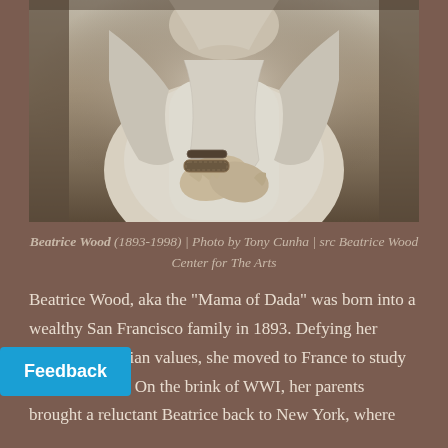[Figure (photo): Black and white sepia photograph of Beatrice Wood, showing her torso and hands clasped together, wearing white draped clothing and decorative bangles/bracelets]
Beatrice Wood (1893-1998) | Photo by Tony Cunha | src Beatrice Wood Center for The Arts
Beatrice Wood, aka the “Mama of Dada” was born into a wealthy San Francisco family in 1893. Defying her family’s Victorian values, she moved to France to study theater and art. On the brink of WWI, her parents brought a reluctant Beatrice back to New York, where [she] d everything within her power to discourage her plans for a career on the New York stage.